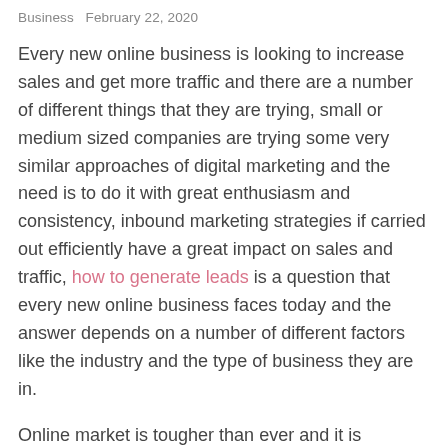Business   February 22, 2020
Every new online business is looking to increase sales and get more traffic and there are a number of different things that they are trying, small or medium sized companies are trying some very similar approaches of digital marketing and the need is to do it with great enthusiasm and consistency, inbound marketing strategies if carried out efficiently have a great impact on sales and traffic, how to generate leads is a question that every new online business faces today and the answer depends on a number of different factors like the industry and the type of business they are in.
Online market is tougher than ever and it is becoming more of a challenge to generate sales and stay ahead of competition, the prime purpose of digital marketing is generating leads, your website content can be the perfect bridge between the new